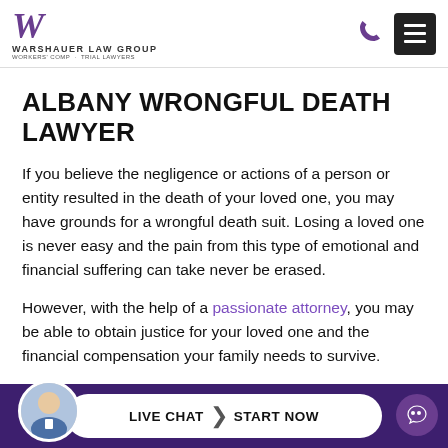[Figure (logo): Warshauer Law Group logo with stylized W and firm name]
ALBANY WRONGFUL DEATH LAWYER
If you believe the negligence or actions of a person or entity resulted in the death of your loved one, you may have grounds for a wrongful death suit. Losing a loved one is never easy and the pain from this type of emotional and financial suffering can take never be erased.
However, with the help of a passionate attorney, you may be able to obtain justice for your loved one and the financial compensation your family needs to survive.
[Figure (screenshot): Live chat bar at bottom with attorney avatar, LIVE CHAT START NOW button, and WeChat icon]